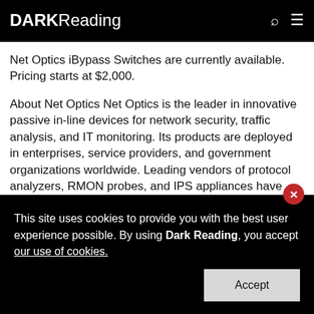DARK Reading
Net Optics iBypass Switches are currently available. Pricing starts at $2,000.
About Net Optics Net Optics is the leader in innovative passive in-line devices for network security, traffic analysis, and IT monitoring. Its products are deployed in enterprises, service providers, and government organizations worldwide. Leading vendors of protocol analyzers, RMON probes, and IPS appliances have selected Net Optics for their customers' monitoring.
This site uses cookies to provide you with the best user experience possible. By using Dark Reading, you accept our use of cookies.